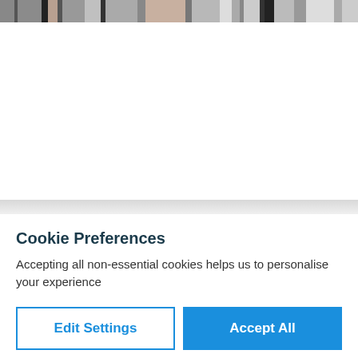[Figure (screenshot): A blurred/pixelated horizontal banner strip showing thumbnails of images from a website, appearing at the very top of the page.]
Cookie Preferences
Accepting all non-essential cookies helps us to personalise your experience
Edit Settings
Accept All